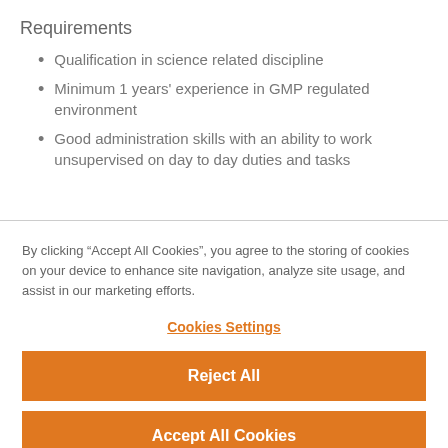Requirements
Qualification in science related discipline
Minimum 1 years' experience in GMP regulated environment
Good administration skills with an ability to work unsupervised on day to day duties and tasks
By clicking “Accept All Cookies”, you agree to the storing of cookies on your device to enhance site navigation, analyze site usage, and assist in our marketing efforts.
Cookies Settings
Reject All
Accept All Cookies